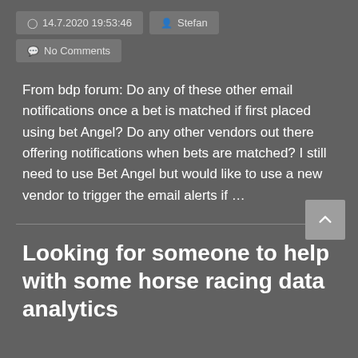14.7.2020 19:53:46  Stefan
No Comments
From bdp forum: Do any of these other email notifications once a bet is matched if first placed using bet Angel? Do any other vendors out there offering notifications when bets are matched? I still need to use Bet Angel but would like to use a new vendor to trigger the email alerts if ...
Looking for someone to help with some horse racing data analytics